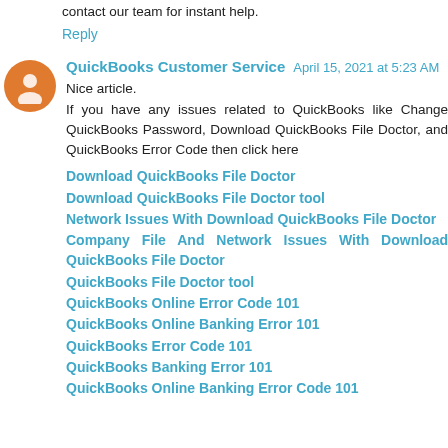contact our team for instant help.
Reply
QuickBooks Customer Service  April 15, 2021 at 5:23 AM
Nice article.
If you have any issues related to QuickBooks like Change QuickBooks Password, Download QuickBooks File Doctor, and QuickBooks Error Code then click here
Download QuickBooks File Doctor
Download QuickBooks File Doctor tool
Network Issues With Download QuickBooks File Doctor
Company File And Network Issues With Download QuickBooks File Doctor
QuickBooks File Doctor tool
QuickBooks Online Error Code 101
QuickBooks Online Banking Error 101
QuickBooks Error Code 101
QuickBooks Banking Error 101
QuickBooks Online Banking Error Code 101